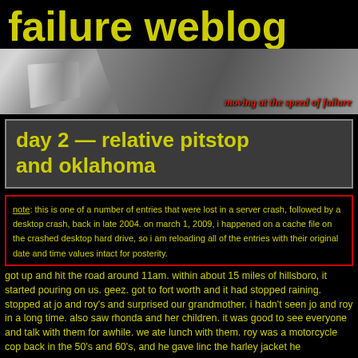failure weblog
[Figure (photo): Banner image with metallic foil/reflective surface background and tagline 'moving at the speed of failure' in red italic text]
day 2 — relative pitstop and oklahoma
note: this is one of a number of entries that were lost in a server crash, followed by a desktop crash, back in late 2004. on march 1, 2009, i happened on a cache file on the crashed desktop hard drive, so i am reloading all of the entries with their original date and time values intact for posterity.
got up and hit the road around 11am. within about 15 miles of hillsboro, it started pouring on us. geez. got to fort worth and it had stopped raining. stopped at jo and roy's and surprised our grandmother. i hadn't seen jo and roy in a long time. also saw rhonda and her children. it was good to see everyone and talk with them for awhile. we ate lunch with them. roy was a motorcycle cop back in the 50's and 60's, and he gave linc the harley jacket he